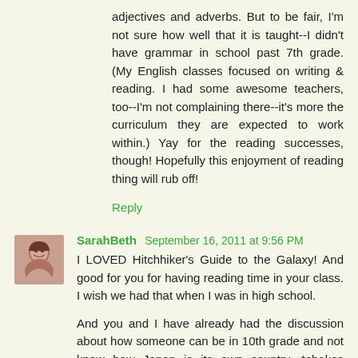adjectives and adverbs. But to be fair, I'm not sure how well that it is taught--I didn't have grammar in school past 7th grade. (My English classes focused on writing & reading. I had some awesome teachers, too--I'm not complaining there--it's more the curriculum they are expected to work within.) Yay for the reading successes, though! Hopefully this enjoyment of reading thing will rub off!
Reply
SarahBeth  September 16, 2011 at 9:56 PM
I LOVED Hitchhiker's Guide to the Galaxy! And good for you for having reading time in your class. I wish we had that when I was in high school.

And you and I have already had the discussion about how someone can be in 10th grade and not know how Japan is its own country. *shakes head*
Reply